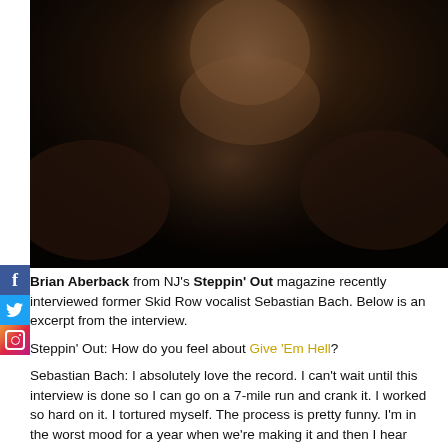[Figure (photo): Dark moody photo of a person (Sebastian Bach) with tattoos visible, shot in low light against a dark background]
Brian Aberback from NJ's Steppin' Out magazine recently interviewed former Skid Row vocalist Sebastian Bach. Below is an excerpt from the interview.
Steppin' Out: How do you feel about Give 'Em Hell?
Sebastian Bach: I absolutely love the record. I can't wait until this interview is done so I can go on a 7-mile run and crank it. I worked so hard on it. I tortured myself. The process is pretty funny. I'm in the worst mood for a year when we're making it and then I hear what I want to hear at the end and I'm the happiest, most humorous guy in the world. I think it sounds timeless. There's certain singers that can still sound the same as they get older, like Steven Tyler, and I'm very lucky that I can do that as